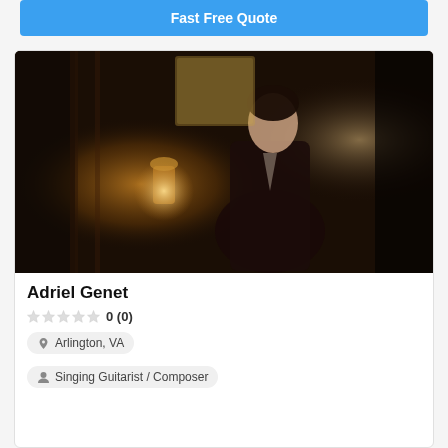Fast Free Quote
[Figure (photo): Professional photo of Adriel Genet, a man in a dark suit standing in an ornate interior with wooden staircases and a vintage lantern]
Adriel Genet
0 (0)
Arlington, VA
Singing Guitarist / Composer